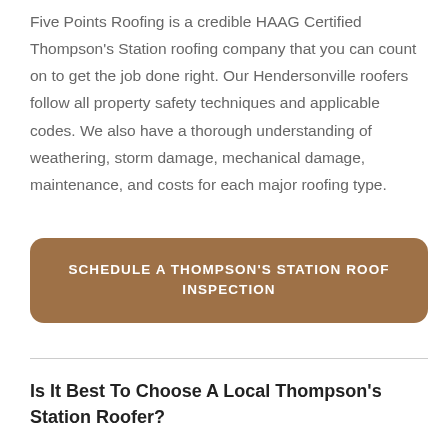Five Points Roofing is a credible HAAG Certified Thompson's Station roofing company that you can count on to get the job done right. Our Hendersonville roofers follow all property safety techniques and applicable codes. We also have a thorough understanding of weathering, storm damage, mechanical damage, maintenance, and costs for each major roofing type.
[Figure (other): Brown rounded rectangle button with white uppercase text: SCHEDULE A THOMPSON'S STATION ROOF INSPECTION]
Is It Best To Choose A Local Thompson's Station Roofer?